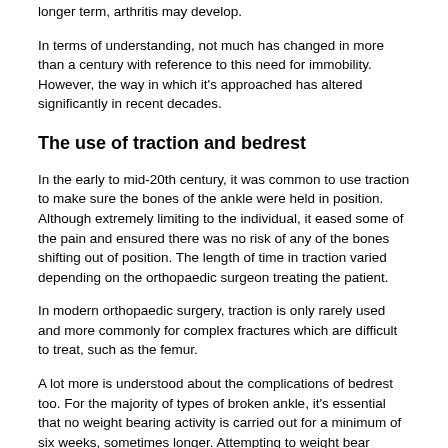longer term, arthritis may develop.
In terms of understanding, not much has changed in more than a century with reference to this need for immobility. However, the way in which it's approached has altered significantly in recent decades.
The use of traction and bedrest
In the early to mid-20th century, it was common to use traction to make sure the bones of the ankle were held in position. Although extremely limiting to the individual, it eased some of the pain and ensured there was no risk of any of the bones shifting out of position. The length of time in traction varied depending on the orthopaedic surgeon treating the patient.
In modern orthopaedic surgery, traction is only rarely used and more commonly for complex fractures which are difficult to treat, such as the femur.
A lot more is understood about the complications of bedrest too. For the majority of types of broken ankle, it's essential that no weight bearing activity is carried out for a minimum of six weeks, sometimes longer. Attempting to weight bear before this can move bones out of position and jeopardise healing.
Scientists now understand the detrimental effect that total bedrest can have on the whole body, including the muscles and the bones.